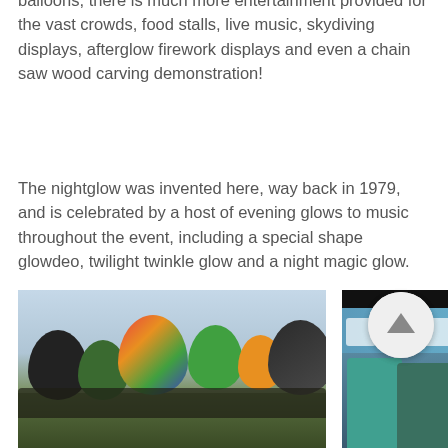balloons, there is much more entertainment provided for the vast crowds, food stalls, live music, skydiving displays, afterglow firework displays and even a chain saw wood carving demonstration!
The nightglow was invented here, way back in 1979, and is celebrated by a host of evening glows to music throughout the event, including a special shape glowdeo, twilight twinkle glow and a night magic glow.
[Figure (photo): Crowd with colorful hot air balloons in the background at a balloon festival, overcast sky]
[Figure (photo): Two people at an event, one wearing a teal jacket, with event signage/logos in the background]